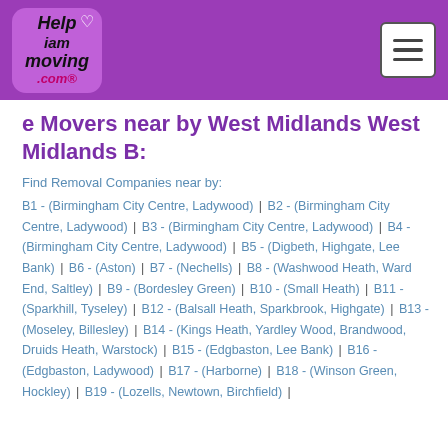Help iam moving .com [logo] [hamburger menu]
e Movers near by West Midlands West Midlands B:
Find Removal Companies near by:
B1 - (Birmingham City Centre, Ladywood) | B2 - (Birmingham City Centre, Ladywood) | B3 - (Birmingham City Centre, Ladywood) | B4 - (Birmingham City Centre, Ladywood) | B5 - (Digbeth, Highgate, Lee Bank) | B6 - (Aston) | B7 - (Nechells) | B8 - (Washwood Heath, Ward End, Saltley) | B9 - (Bordesley Green) | B10 - (Small Heath) | B11 - (Sparkhill, Tyseley) | B12 - (Balsall Heath, Sparkbrook, Highgate) | B13 - (Moseley, Billesley) | B14 - (Kings Heath, Yardley Wood, Brandwood, Druids Heath, Warstock) | B15 - (Edgbaston, Lee Bank) | B16 - (Edgbaston, Ladywood) | B17 - (Harborne) | B18 - (Winson Green, Hockley) | B19 - (Lozells, Newtown, Birchfield) |